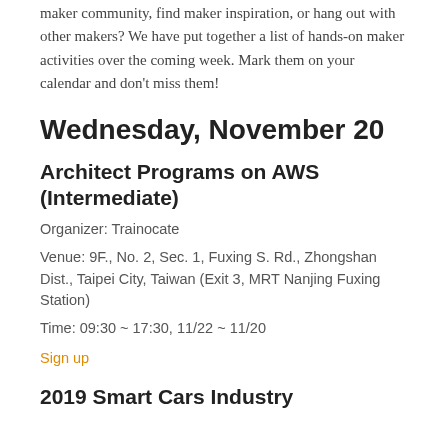maker community, find maker inspiration, or hang out with other makers? We have put together a list of hands-on maker activities over the coming week. Mark them on your calendar and don't miss them!
Wednesday, November 20
Architect Programs on AWS (Intermediate)
Organizer: Trainocate
Venue: 9F., No. 2, Sec. 1, Fuxing S. Rd., Zhongshan Dist., Taipei City, Taiwan (Exit 3, MRT Nanjing Fuxing Station)
Time: 09:30 ~ 17:30, 11/22 ~ 11/20
Sign up
2019 Smart Cars Industry